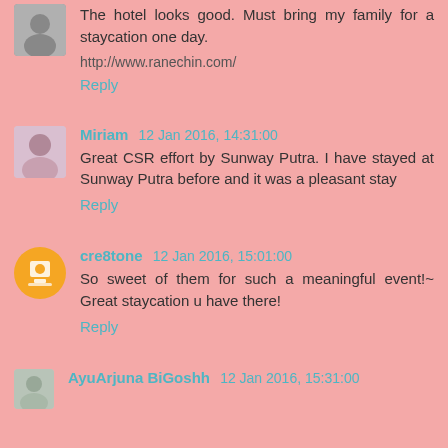The hotel looks good. Must bring my family for a staycation one day.
http://www.ranechin.com/
Reply
Miriam  12 Jan 2016, 14:31:00
Great CSR effort by Sunway Putra. I have stayed at Sunway Putra before and it was a pleasant stay
Reply
cre8tone  12 Jan 2016, 15:01:00
So sweet of them for such a meaningful event!~ Great staycation u have there!
Reply
AyuArjuna BiGoshh  12 Jan 2016, 15:31:00